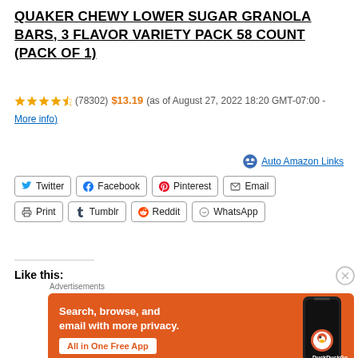QUAKER CHEWY LOWER SUGAR GRANOLA BARS, 3 FLAVOR VARIETY PACK 58 COUNT (PACK OF 1)
★★★★★ (78302) $13.19 (as of August 27, 2022 18:20 GMT-07:00 - More info)
Auto Amazon Links
Twitter Facebook Pinterest Email Print Tumblr Reddit WhatsApp
Like this:
[Figure (screenshot): DuckDuckGo advertisement banner showing 'Search, browse, and email with more privacy. All in One Free App' with DuckDuckGo logo on an orange background with a phone graphic.]